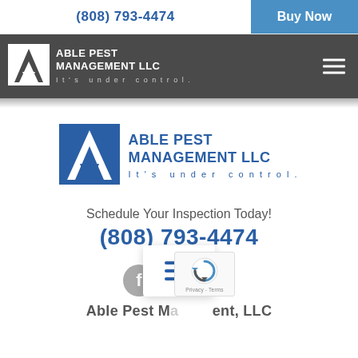(808) 793-4474   Buy Now
[Figure (logo): Able Pest Management LLC logo with lightning bolt A icon on dark nav bar. Text reads: ABLE PEST MANAGEMENT LLC It's under control.]
[Figure (logo): Able Pest Management LLC large center logo - blue square with white lightning bolt A icon. Text: ABLE PEST MANAGEMENT LLC It's under control.]
Schedule Your Inspection Today!
(808) 793-4474
[Figure (illustration): Three social media icons (Facebook, Instagram, Google) in gray circles, with an overlay hamburger menu panel and reCAPTCHA widget.]
Able Pest Management LLC